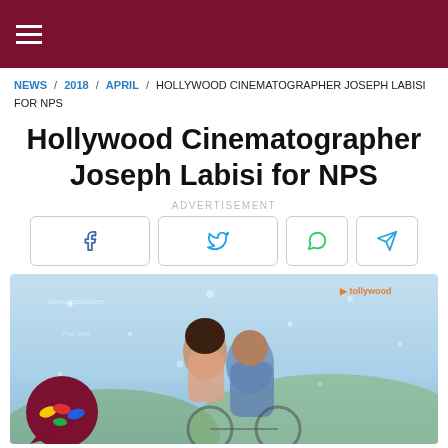≡ (hamburger menu)
NEWS / 2018 / APRIL / HOLLYWOOD CINEMATOGRAPHER JOSEPH LABISI FOR NPS
Hollywood Cinematographer Joseph Labisi for NPS
ADVERTISEMENT
[Figure (other): Social share buttons: Facebook, Twitter, WhatsApp, Telegram]
[Figure (photo): Movie promotional image showing a couple on a bicycle in a romantic pose against a blue sky background, with a colorful chat app logo overlay in the bottom left corner]